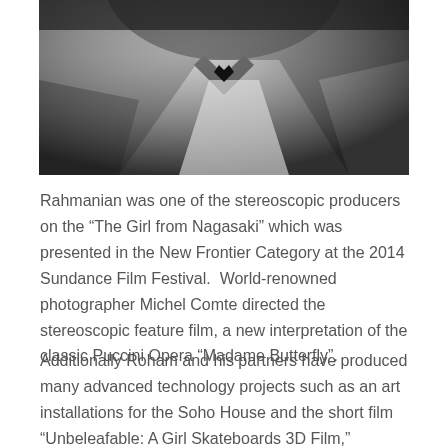[Figure (photo): Black and white close-up photograph of a person wearing a white shirt and dark bow tie, photographed from below/side angle]
Rahmanian was one of the stereoscopic producers on the “The Girl from Nagasaki” which was presented in the New Frontier Category at the 2014 Sundance Film Festival.  World-renowned photographer Michel Comte directed the stereoscopic feature film, a new interpretation of the classic Puccini Opera “Madame Butterfly”.
Additionally Roham and his partners have produced many advanced technology projects such as an art installations for the Soho House and the short film “Unbeleafable: A Girl Skateboards 3D Film,” created